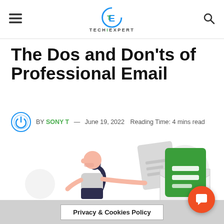TECHIEXPERT
The Dos and Don'ts of Professional Email
BY SONY T — June 19, 2022  Reading Time: 4 mins read
[Figure (illustration): Illustration of a woman placing a green email/document card into an open envelope, with paper document icons in the background]
Privacy & Cookies Policy